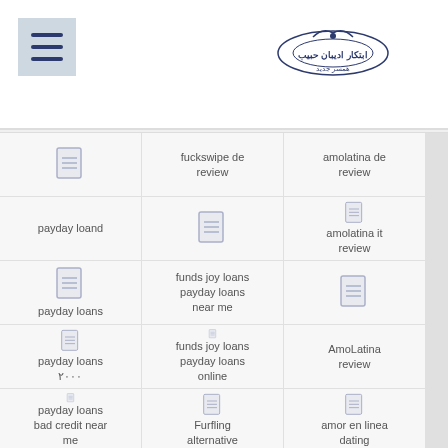Menu button and logo
| Col 1 | Col 2 | Col 3 |
| --- | --- | --- |
| [icon] | fuckswipe de review | amolatina de review |
| payday loand | [icon] funds joy loans payday loans near me | [icon] amolatina it review |
| payday loans | funds joy loans payday loans near me | amolatina it review |
| payday loans ۲۰۰۰ | funds joy loans payday loans online | AmoLatina review |
| payday loans bad credit near me | Furfling alternative | amor en linea dating |